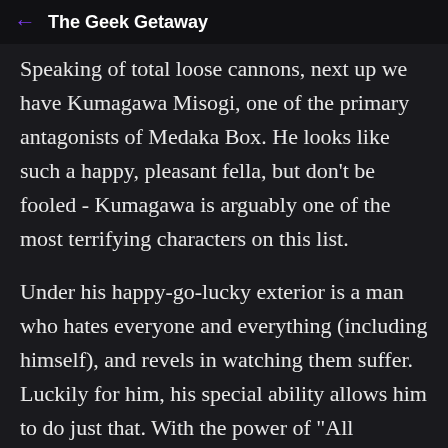← The Geek Getaway
Speaking of total loose cannons, next up we have Kumagawa Misogi, one of the primary antagonists of Medaka Box. He looks like such a happy, pleasant fella, but don't be fooled - Kumagawa is arguably one of the most terrifying characters on this list.
Under his happy-go-lucky exterior is a man who hates everyone and everything (including himself), and revels in watching them suffer. Luckily for him, his special ability allows him to do just that. With the power of "All Fiction", Kumagawa can essentially turn back time on a